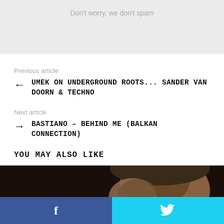Don't worry, we don't spam
Previous article
UMEK ON UNDERGROUND ROOTS... SANDER VAN DOORN & TECHNO
Next article
BASTIANO – BEHIND ME (BALKAN CONNECTION)
YOU MAY ALSO LIKE
[Figure (photo): Person with headphones around neck, back of head visible, wearing plaid shirt]
f  [Twitter bird icon]